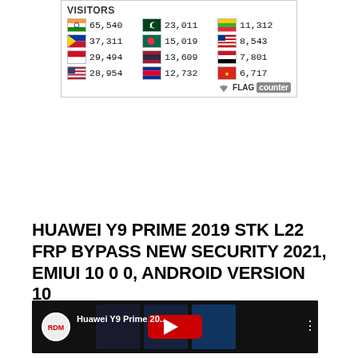[Figure (infographic): Flag Counter widget showing visitor counts by country. India 65,540 | Pakistan 23,011 | Myanmar 11,312 | Philippines 37,311 | Bangladesh 15,019 | Malaysia 8,543 | Indonesia 29,494 | Thailand 13,609 | Yemen 7,801 | USA 28,954 | Cambodia 12,732 | Vietnam 6,717]
HUAWEI Y9 PRIME 2019 STK L22 FRP BYPASS NEW SECURITY 2021, EMIUI 10 0 0, ANDROID VERSION 10
[Figure (screenshot): YouTube video thumbnail for Huawei Y9 Prime 20... showing a phone screen with FRP bypass steps, New Security 2021 text, and a red YouTube play button overlay.]